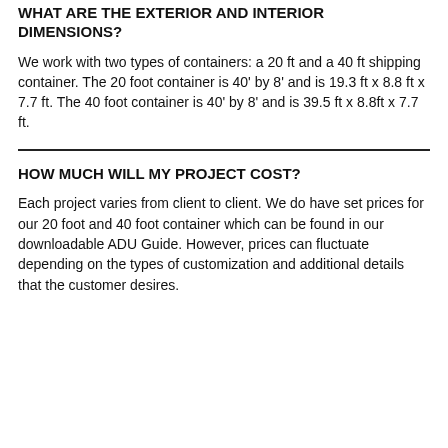WHAT ARE THE EXTERIOR AND INTERIOR DIMENSIONS?
We work with two types of containers: a 20 ft and a 40 ft shipping container. The 20 foot container is 40' by 8' and is 19.3 ft x 8.8 ft x 7.7 ft. The 40 foot container is 40' by 8' and is 39.5 ft x 8.8ft x 7.7 ft.
HOW MUCH WILL MY PROJECT COST?
Each project varies from client to client. We do have set prices for our 20 foot and 40 foot container which can be found in our downloadable ADU Guide. However, prices can fluctuate depending on the types of customization and additional details that the customer desires.